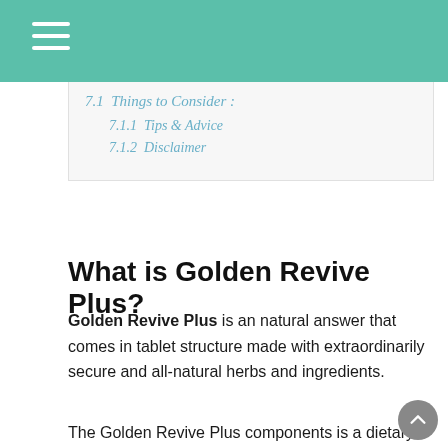7.1  Things to Consider :
7.1.1  Tips & Advice
7.1.2  Disclaimer
What is Golden Revive Plus?
Golden Revive Plus is an natural answer that comes in tablet structure made with extraordinarily secure and all-natural herbs and ingredients.
The Golden Revive Plus components is a dietary complement that has some